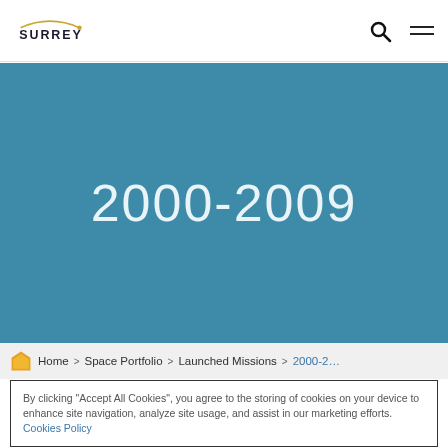Surrey — navigation bar with search and menu icons
2000-2009
Home > Space Portfolio > Launched Missions > 2000-2...
By clicking "Accept All Cookies", you agree to the storing of cookies on your device to enhance site navigation, analyze site usage, and assist in our marketing efforts. Cookies Policy